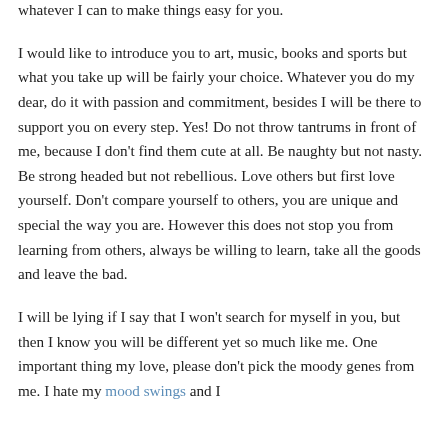whatever I can to make things easy for you.
I would like to introduce you to art, music, books and sports but what you take up will be fairly your choice. Whatever you do my dear, do it with passion and commitment, besides I will be there to support you on every step. Yes! Do not throw tantrums in front of me, because I don't find them cute at all. Be naughty but not nasty. Be strong headed but not rebellious. Love others but first love yourself. Don't compare yourself to others, you are unique and special the way you are. However this does not stop you from learning from others, always be willing to learn, take all the goods and leave the bad.
I will be lying if I say that I won't search for myself in you, but then I know you will be different yet so much like me. One important thing my love, please don't pick the moody genes from me. I hate my mood swings and I